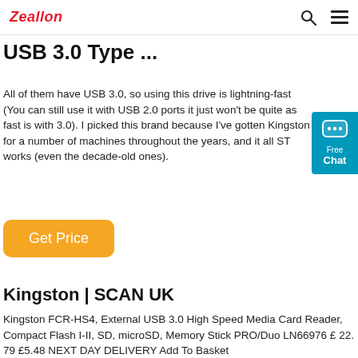Zeallon
USB 3.0 Type ...
All of them have USB 3.0, so using this drive is lightning-fast (You can still use it with USB 2.0 ports it just won't be quite as fast is with 3.0). I picked this brand because I've gotten Kingston for a number of machines throughout the years, and it all ST works (even the decade-old ones).
Get Price
Kingston | SCAN UK
Kingston FCR-HS4, External USB 3.0 High Speed Media Card Reader, Compact Flash I-II, SD, microSD, Memory Stick PRO/Duo LN66976 £ 22. 79 £5.48 NEXT DAY DELIVERY Add To Basket